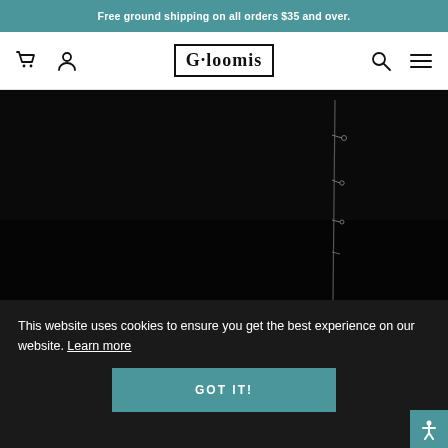Free ground shipping on all orders $35 and over.
[Figure (screenshot): G. Loomis website navigation bar with cart icon, user icon, G. Loomis logo, search icon, and hamburger menu icon]
[Figure (photo): Dark/black hero image with a fishing rod visible on the right side]
This website uses cookies to ensure you get the best experience on our website. Learn more
GOT IT!